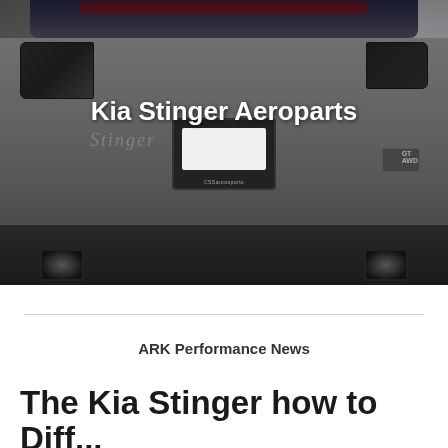[Figure (photo): Rear view of a Kia Stinger in dark gray, showing spoiler, tail lights, license plate frame with CSS Autosports branding, GT badge, and dual exhaust diffuser. Text overlay reads 'Kia Stinger Aeroparts'.]
Kia Stinger Aeroparts
ARK Performance News
The Kia Stinger how to Diff...